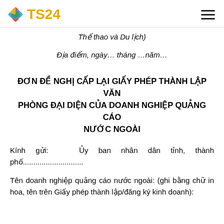TS24
Thể thao và Du lịch)
Địa điểm, ngày… tháng …năm…
ĐƠN ĐỀ NGHỊ CẤP LẠI GIẤY PHÉP THÀNH LẬP VĂN PHÒNG ĐẠI DIỆN CỦA DOANH NGHIỆP QUẢNG CÁO NƯỚC NGOÀI
Kính gửi: Ủy ban nhân dân tỉnh, thành phố.............................
Tên doanh nghiệp quảng cáo nước ngoài: (ghi bằng chữ in hoa, tên trên Giấy phép thành lập/đăng ký kinh doanh):